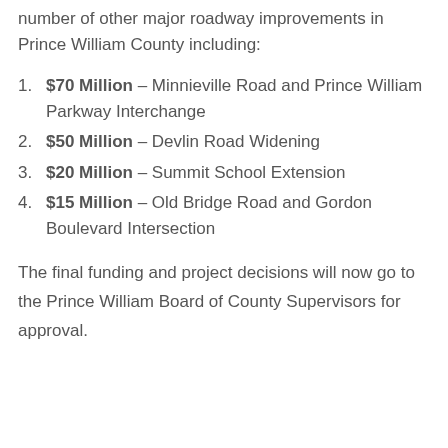number of other major roadway improvements in Prince William County including:
$70 Million – Minnieville Road and Prince William Parkway Interchange
$50 Million – Devlin Road Widening
$20 Million – Summit School Extension
$15 Million – Old Bridge Road and Gordon Boulevard Intersection
The final funding and project decisions will now go to the Prince William Board of County Supervisors for approval.